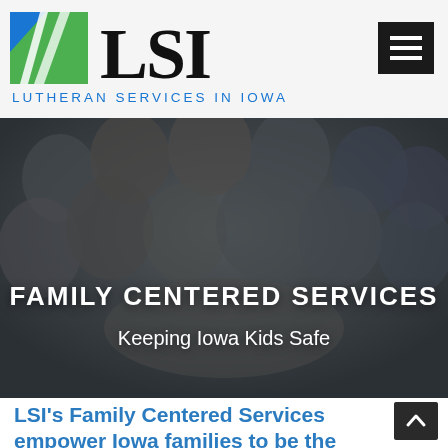[Figure (logo): LSI Lutheran Services in Iowa logo with blue and green geometric shapes]
[Figure (photo): Group of diverse smiling people leaning in together in a circle, viewed from below, with dark overlay]
FAMILY CENTERED SERVICES
Keeping Iowa Kids Safe
LSI's Family Centered Services empower Iowa families to be the best